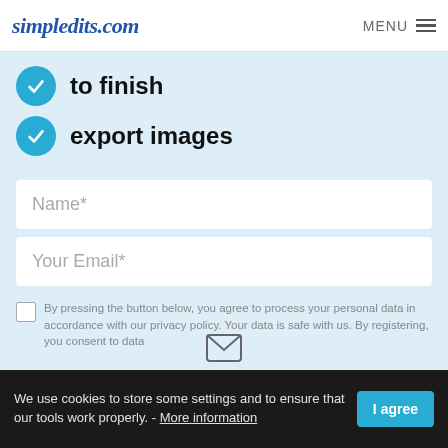simpledits.com MENU
to finish
export images
Name*
Your Email*
By pressing the button below, you agree to process your personal data in accordance with our privacy policy. Your data is safe with us. By registering, you consent to data
We use cookies to store some settings and to ensure that our tools work properly. - More information
I agree